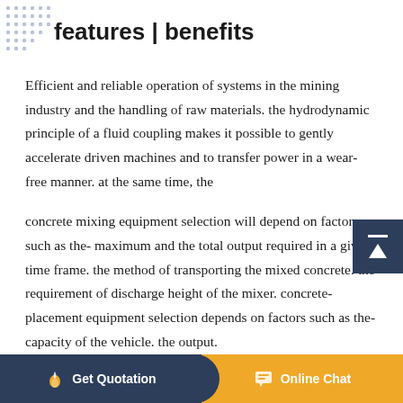features | benefits
Efficient and reliable operation of systems in the mining industry and the handling of raw materials. the hydrodynamic principle of a fluid coupling makes it possible to gently accelerate driven machines and to transfer power in a wear-free manner. at the same time, the
concrete mixing equipment selection will depend on factors such as the- maximum and the total output required in a given time frame. the method of transporting the mixed concrete. the requirement of discharge height of the mixer. concrete-placement equipment selection depends on factors such as the- capacity of the vehicle. the output.
Get Quotation    Online Chat